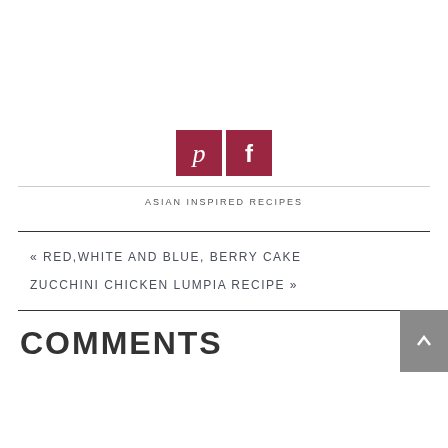[Figure (other): Social media share buttons: Pinterest (P) and Facebook (f) icons in dark red/crimson square buttons]
ASIAN INSPIRED RECIPES
« RED,WHITE AND BLUE, BERRY CAKE
ZUCCHINI CHICKEN LUMPIA RECIPE »
COMMENTS